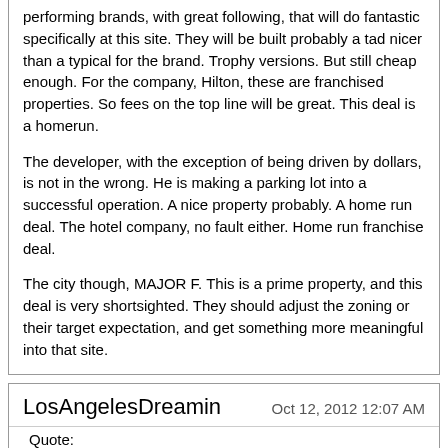performing brands, with great following, that will do fantastic specifically at this site. They will be built probably a tad nicer than a typical for the brand. Trophy versions. But still cheap enough. For the company, Hilton, these are franchised properties. So fees on the top line will be great. This deal is a homerun.

The developer, with the exception of being driven by dollars, is not in the wrong. He is making a parking lot into a successful operation. A nice property probably. A home run deal. The hotel company, no fault either. Home run franchise deal.

The city though, MAJOR F. This is a prime property, and this deal is very shortsighted. They should adjust the zoning or their target expectation, and get something more meaningful into that site.
LosAngelesDreamin
Oct 12, 2012 12:07 AM
Quote:
Originally Posted by mello (Post 5863200)
^^^ Ok then why hasn't a mixed use project been proposed there? Maybe 20 floors of hotel and 15 to 10 of office or residential, I think that would be great.
I'm guessing it would be to tall for a lot of people and they would complain about the tower blocking views and sunlight and all that BS